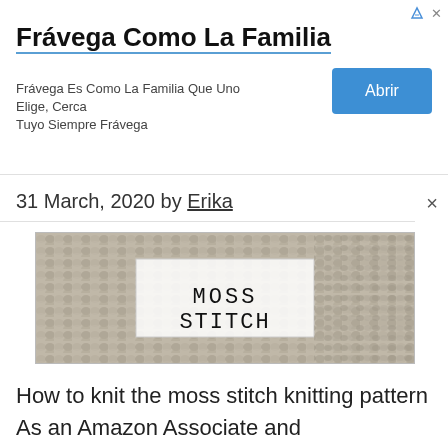[Figure (infographic): Advertisement banner for Frávega Como La Familia with title text, subtitle, and blue Abrir button]
31 March, 2020 by Erika
[Figure (photo): Close-up photo of moss stitch knitting pattern in grey/beige yarn with white label overlay reading MOSS STITCH]
How to knit the moss stitch knitting pattern As an Amazon Associate and